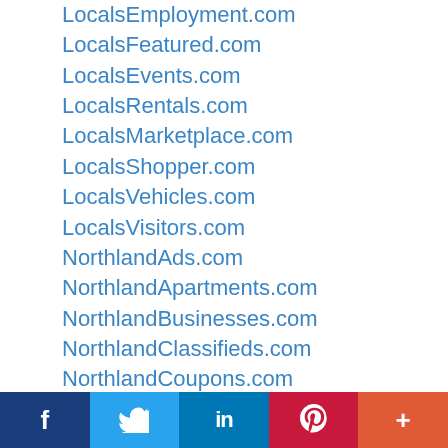LocalsEmployment.com
LocalsFeatured.com
LocalsEvents.com
LocalsRentals.com
LocalsMarketplace.com
LocalsShopper.com
LocalsVehicles.com
LocalsVisitors.com
NorthlandAds.com
NorthlandApartments.com
NorthlandBusinesses.com
NorthlandClassifieds.com
NorthlandCoupons.com
NorthlandDirectory.com
NorthlandEmployment.com
NorthlandEvents.com
f  [Twitter]  in  [Pinterest]  +